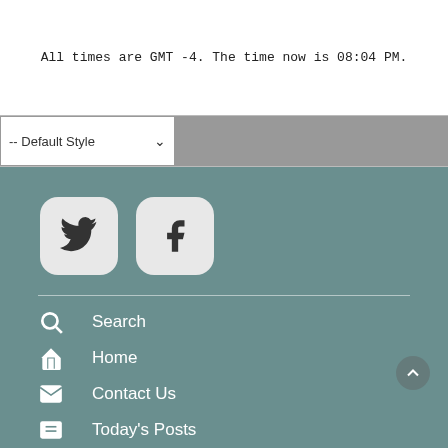All times are GMT -4. The time now is 08:04 PM.
-- Default Style
[Figure (illustration): Twitter bird icon button (rounded square) and Facebook F icon button (rounded square) on teal background]
Search
Home
Contact Us
Today's Posts
Register Now